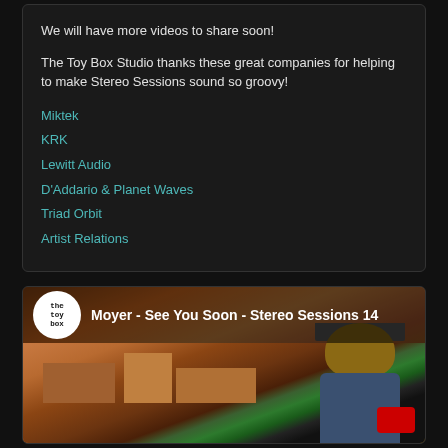We will have more videos to share soon!
The Toy Box Studio thanks these great companies for helping to make Stereo Sessions sound so groovy!
Miktek
KRK
Lewitt Audio
D'Addario & Planet Waves
Triad Orbit
Artist Relations
[Figure (screenshot): YouTube video thumbnail for 'Moyer - See You Soon - Stereo Sessions 14' with The Toy Box logo and a colorful city street scene with a person in the foreground]